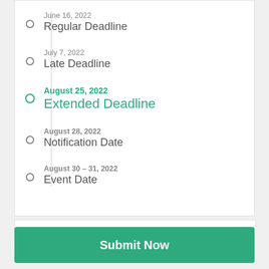June 16, 2022 — Regular Deadline
July 7, 2022 — Late Deadline
August 25, 2022 — Extended Deadline (active/highlighted)
August 28, 2022 — Notification Date
August 30 – 31, 2022 — Event Date
Submit Now